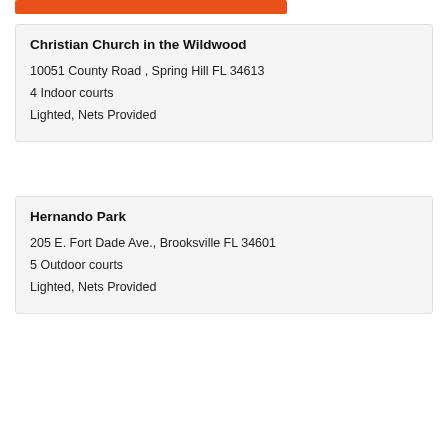[Figure (other): Orange decorative bar at top]
Christian Church in the Wildwood
10051 County Road , Spring Hill FL 34613
4 Indoor courts
Lighted, Nets Provided
Hernando Park
205 E. Fort Dade Ave., Brooksville FL 34601
5 Outdoor courts
Lighted, Nets Provided